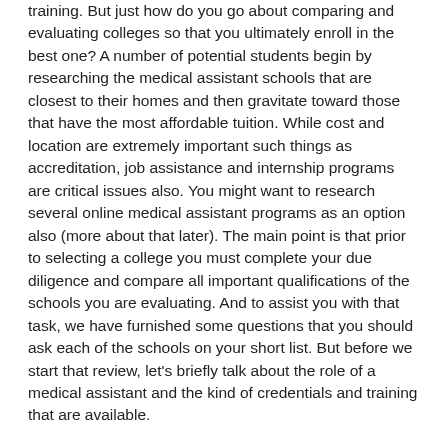training. But just how do you go about comparing and evaluating colleges so that you ultimately enroll in the best one? A number of potential students begin by researching the medical assistant schools that are closest to their homes and then gravitate toward those that have the most affordable tuition. While cost and location are extremely important such things as accreditation, job assistance and internship programs are critical issues also. You might want to research several online medical assistant programs as an option also (more about that later). The main point is that prior to selecting a college you must complete your due diligence and compare all important qualifications of the schools you are evaluating. And to assist you with that task, we have furnished some questions that you should ask each of the schools on your short list. But before we start that review, let's briefly talk about the role of a medical assistant and the kind of credentials and training that are available.
Why Study to Become a Medical Assistant?